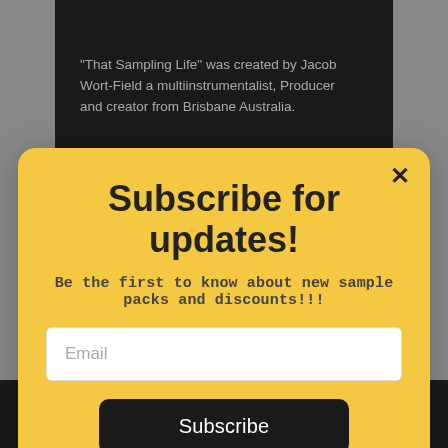"That Sampling Life" was created by Jacob Wort-Field a multiinstrumentalist, Producer and creator from Brisbane Australia.
[Figure (screenshot): Background webpage screenshot with dark header section and light footer, showing partial website content]
Subscribe for updates!
Be the first to know about new sample packs and discounts!!!
Email
Subscribe
POWR
Popup - Create your own for free!
Email - thatsamplinglife@outlook.com